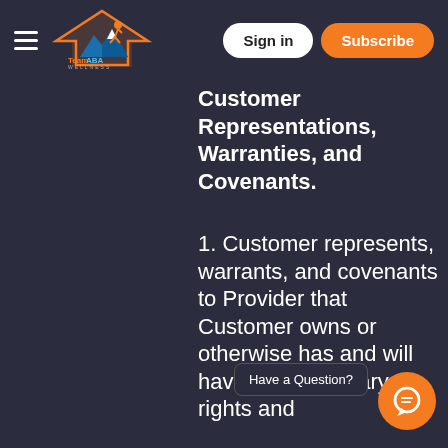TeamABA Wellness — Sign in | Subscribe
Customer Representations, Warranties, and Covenants.
1. Customer represents, warrants, and covenants to Provider that Customer owns or otherwise has and will have the necessary rights and